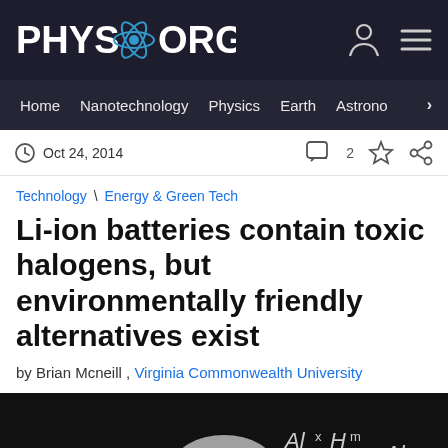PHYS.ORG
Home  Nanotechnology  Physics  Earth  Astronomy
Oct 24, 2014
Technology \ Energy & Green Tech
Li-ion batteries contain toxic halogens, but environmentally friendly alternatives exist
by Brian Mcneill , Virginia Commonwealth University
[Figure (photo): A man with grey hair standing in front of a dark chalkboard with chemical formulas written on it]